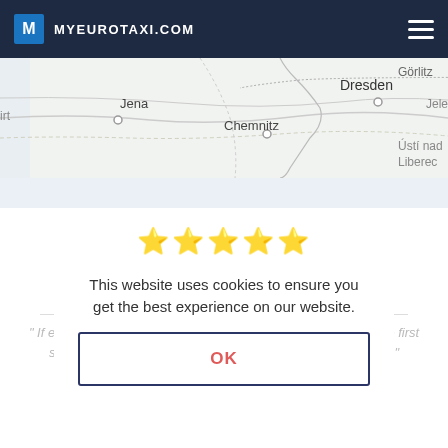MYEUROTAXI.COM
[Figure (map): Partial map showing German and Czech cities: Jena, Chemnitz, Dresden, Görlitz, Ustí nad, Liberec, Jelení, irt]
This website uses cookies to ensure you get the best experience on our website.
Professional, punctual, helpful
Maria
" If ever traveling from Prague to Vienna again this is one of the first services I will book. Outstanding drivers Roman and David! "